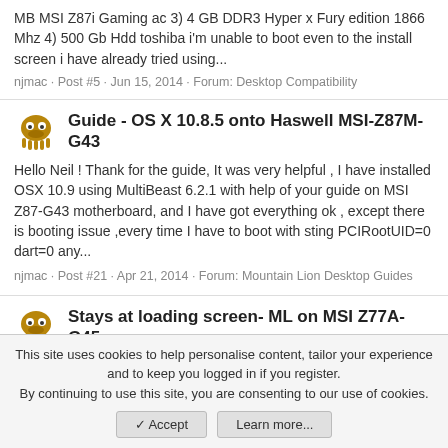MB MSI Z87i Gaming ac 3) 4 GB DDR3 Hyper x Fury edition 1866 Mhz 4) 500 Gb Hdd toshiba i'm unable to boot even to the install screen i have already tried using...
njmac · Post #5 · Jun 15, 2014 · Forum: Desktop Compatibility
Guide - OS X 10.8.5 onto Haswell MSI-Z87M-G43
Hello Neil ! Thank for the guide, It was very helpful , I have installed OSX 10.9 using MultiBeast 6.2.1 with help of your guide on MSI Z87-G43 motherboard, and I have got everything ok , except there is booting issue ,every time I have to boot with sting PCIRootUID=0 dart=0 any...
njmac · Post #21 · Apr 21, 2014 · Forum: Mountain Lion Desktop Guides
Stays at loading screen- ML on MSI Z77A-G45
This site uses cookies to help personalise content, tailor your experience and to keep you logged in if you register.
By continuing to use this site, you are consenting to our use of cookies.